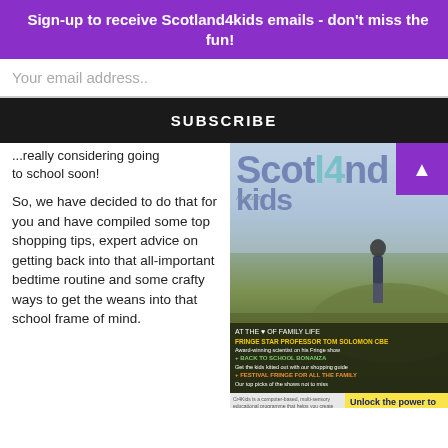Sign-up to receive Scotland4kids emails - don't miss the fun!
Your email address..
SUBSCRIBE
...really considering going back to school soon!
So, we have decided to do that for you and have compiled some top shopping tips, expert advice on getting back into that all-important bedtime routine and some crafty ways to get the weans into that school frame of mind.
[Figure (illustration): Scotland4kids magazine cover with a child standing on a rocky hillside, featuring text about Fringe, back to school, and festival content.]